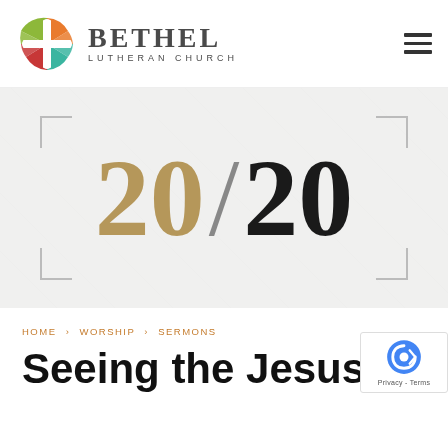[Figure (logo): Bethel Lutheran Church logo: circular multi-colored cross emblem with orange, green, teal, and red sections, next to text 'BETHEL LUTHERAN CHURCH' in serif/sans font]
[Figure (illustration): Hero banner with light gray textured background, corner bracket decorations, and large bold text '20/20' where '20' is gold and '/20' is black]
HOME › WORSHIP › SERMONS
Seeing the Jesus